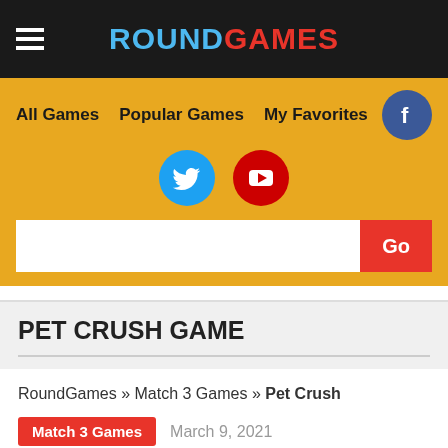ROUNDGAMES
All Games   Popular Games   My Favorites
PET CRUSH GAME
RoundGames » Match 3 Games » Pet Crush
Match 3 Games   March 9, 2021